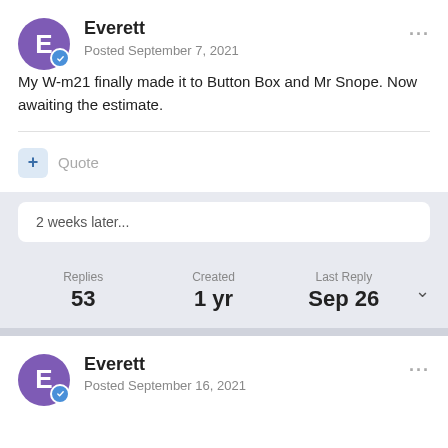Everett
Posted September 7, 2021
My W-m21 finally made it to Button Box and Mr Snope. Now awaiting the estimate.
Quote
2 weeks later...
Replies 53  Created 1 yr  Last Reply Sep 26
Everett
Posted September 16, 2021